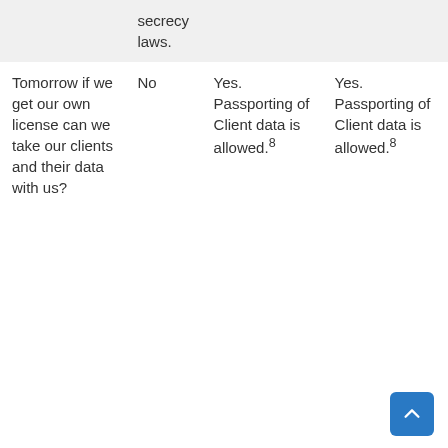| secrecy laws. |  |  |  |
| Tomorrow if we get our own license can we take our clients and their data with us? | No | Yes. Passporting of Client data is allowed.8 | Yes. Passporting of Client data is allowed.8 |